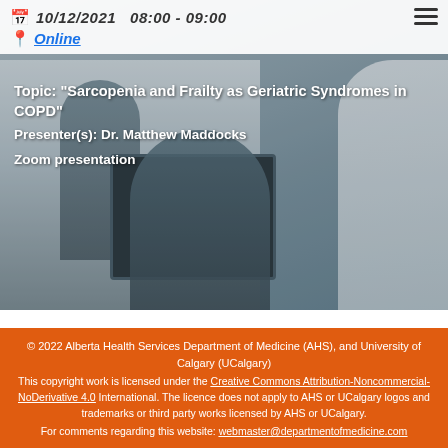10/12/2021  08:00 - 09:00
Online
[Figure (photo): Medical office setting with healthcare workers at desks with computers and equipment, one person in a white coat on the right]
Topic: "Sarcopenia and Frailty as Geriatric Syndromes in COPD"
Presenter(s): Dr. Matthew Maddocks
Zoom presentation
© 2022 Alberta Health Services Department of Medicine (AHS), and University of Calgary (UCalgary) This copyright work is licensed under the Creative Commons Attribution-Noncommercial-NoDerivative 4.0 International. The licence does not apply to AHS or UCalgary logos and trademarks or third party works licensed by AHS or UCalgary. For comments regarding this website: webmaster@departmentofmedicine.com